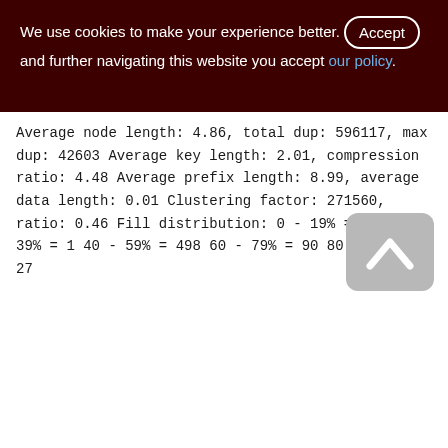We use cookies to make your experience better. By accepting and further navigating this website you accept our policy.
Average node length: 4.86, total dup: 596117, max dup: 42603
Average key length: 2.01, compression ratio: 4.48
Average prefix length: 8.99, average data length: 0.01
Clustering factor: 271560, ratio: 0.46
Fill distribution:
0 - 19% = 0
20 - 39% = 1
40 - 59% = 498
60 - 79% = 90
80 - 99% = 27